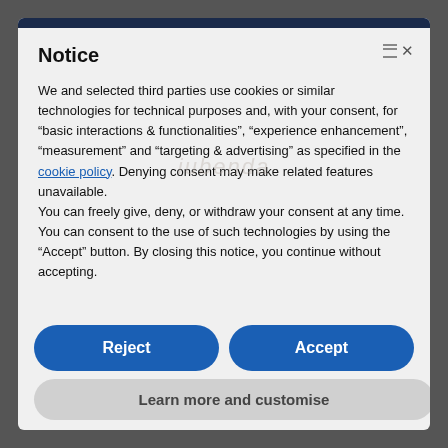Notice
We and selected third parties use cookies or similar technologies for technical purposes and, with your consent, for “basic interactions & functionalities”, “experience enhancement”, “measurement” and “targeting & advertising” as specified in the cookie policy. Denying consent may make related features unavailable.
You can freely give, deny, or withdraw your consent at any time.
You can consent to the use of such technologies by using the “Accept” button. By closing this notice, you continue without accepting.
Reject
Accept
Learn more and customise